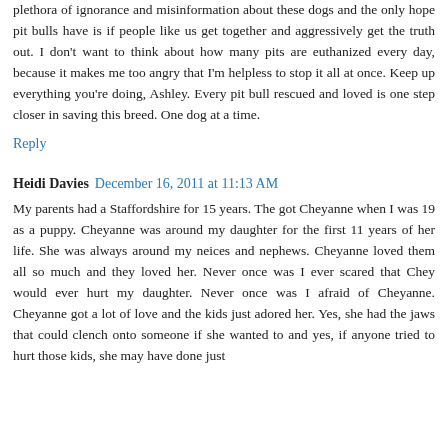plethora of ignorance and misinformation about these dogs and the only hope pit bulls have is if people like us get together and aggressively get the truth out. I don't want to think about how many pits are euthanized every day, because it makes me too angry that I'm helpless to stop it all at once. Keep up everything you're doing, Ashley. Every pit bull rescued and loved is one step closer in saving this breed. One dog at a time.
Reply
Heidi Davies  December 16, 2011 at 11:13 AM
My parents had a Staffordshire for 15 years. The got Cheyanne when I was 19 as a puppy. Cheyanne was around my daughter for the first 11 years of her life. She was always around my neices and nephews. Cheyanne loved them all so much and they loved her. Never once was I ever scared that Chey would ever hurt my daughter. Never once was I afraid of Cheyanne. Cheyanne got a lot of love and the kids just adored her. Yes, she had the jaws that could clench onto someone if she wanted to and yes, if anyone tried to hurt those kids, she may have done just